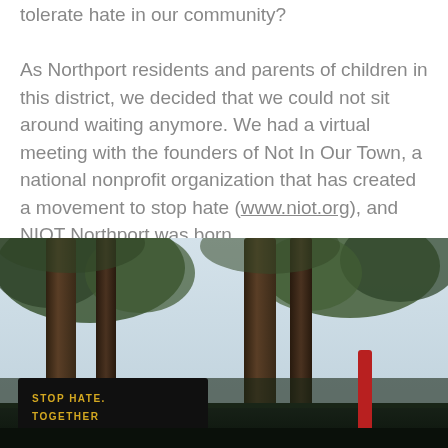tolerate hate in our community?
As Northport residents and parents of children in this district, we decided that we could not sit around waiting anymore. We had a virtual meeting with the founders of Not In Our Town, a national nonprofit organization that has created a movement to stop hate (www.niot.org), and NIOT Northport was born.
[Figure (photo): Outdoor photo showing tall tree trunks with a black sign reading 'STOP HATE. TOGETHER' in yellow text, visible in a park or wooded area. A red post is visible to the right.]